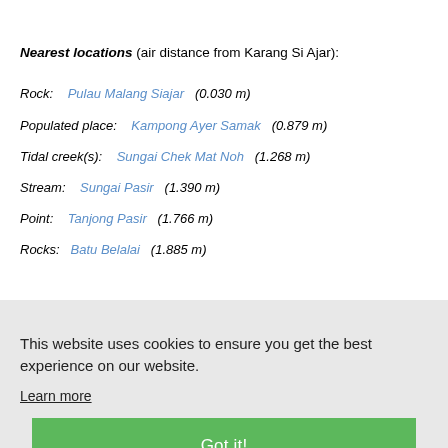Nearest locations (air distance from Karang Si Ajar):
Rock: Pulau Malang Siajar (0.030 m)
Populated place: Kampong Ayer Samak (0.879 m)
Tidal creek(s): Sungai Chek Mat Noh (1.268 m)
Stream: Sungai Pasir (1.390 m)
Point: Tanjong Pasir (1.766 m)
Rocks: Batu Belalai (1.885 m)
This website uses cookies to ensure you get the best experience on our website. Learn more Got it!
Geographic latitude: NORTHERLY 1° 20' 31.31" (display in decimal number system 1.4255609)